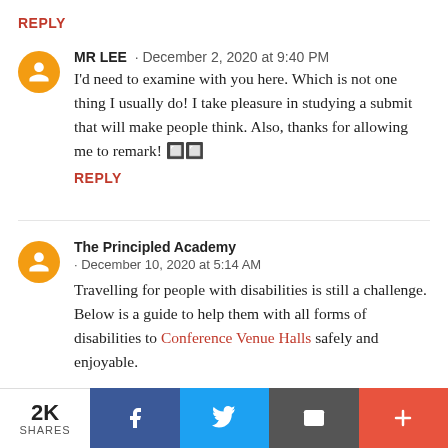REPLY
MR LEE · December 2, 2020 at 9:40 PM
I'd need to examine with you here. Which is not one thing I usually do! I take pleasure in studying a submit that will make people think. Also, thanks for allowing me to remark! 🔲🔲
REPLY
The Principled Academy · December 10, 2020 at 5:14 AM
Travelling for people with disabilities is still a challenge. Below is a guide to help them with all forms of disabilities to Conference Venue Halls safely and enjoyable.
2K SHARES | Facebook | Twitter | Email | +